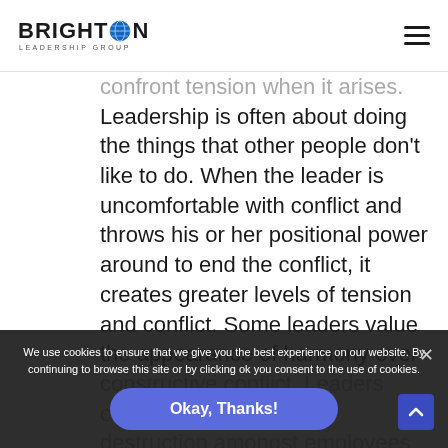Brighton Leadership Group
Confront tension when it arises. Leadership is often about doing the things that other people don't like to do. When the leader is uncomfortable with conflict and throws his or her positional power around to end the conflict, it creates greater levels of tension and conflict. Some leaders value the appearance of harmony over constructive conflict. Leaders create silos and internal destruction amongst employees when they avoid tension. Call out tension when you notice it, and view it as an opportunity to use your leadership maturity as you lead others
We use cookies to ensure that we give you the best experience on our website. By continuing to browse this site or by clicking ok you consent to the use of cookies.
Okay, Thanks!